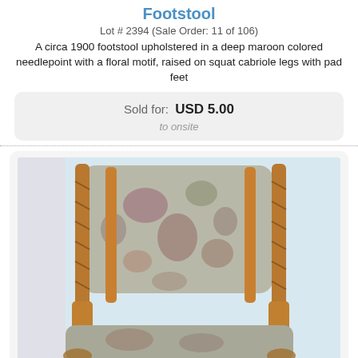Footstool
Lot # 2394 (Sale Order: 11 of 106)
A circa 1900 footstool upholstered in a deep maroon colored needlepoint with a floral motif, raised on squat cabriole legs with pad feet
Sold for: USD 5.00
to onsite
[Figure (photo): Photo of an antique chair/footstool with floral needlepoint upholstery and twisted wooden legs, viewed from the back]